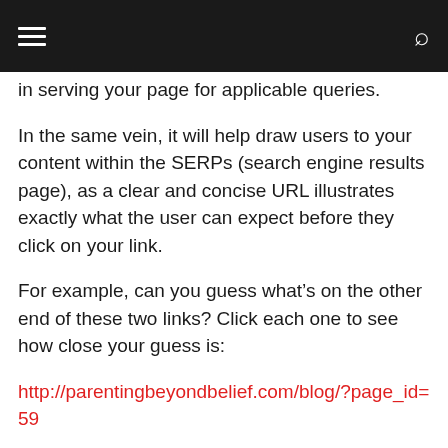in serving your page for applicable queries.
In the same vein, it will help draw users to your content within the SERPs (search engine results page), as a clear and concise URL illustrates exactly what the user can expect before they click on your link.
For example, can you guess what’s on the other end of these two links? Click each one to see how close your guess is:
http://parentingbeyondbelief.com/blog/?page_id=59